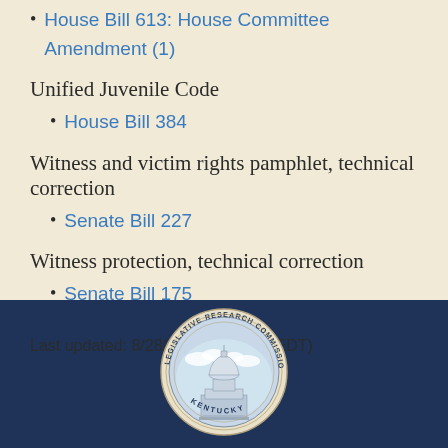House Bill 613: House Committee Amendment (1)
Unified Juvenile Code
House Bill 384
Witness and victim rights pamphlet, technical correction
Senate Bill 227
Witness protection, technical correction
Senate Bill 175
Last updated: 8/28/2019 8:09 AM (EDT)
[Figure (logo): Kentucky Legislative Research Commission seal — circular emblem with capitol dome, clouds, text 'LEGISLATIVE RESEARCH COMMISSION' around ring and 'KENTUCKY' at bottom, on dark navy background]